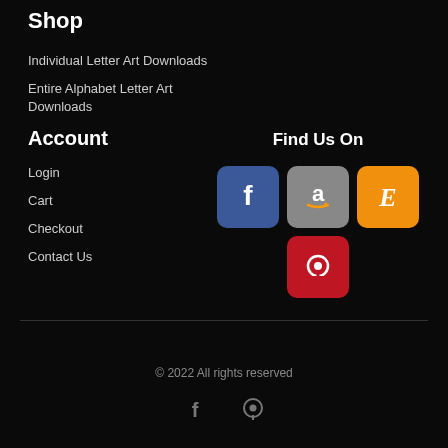Shop
Individual Letter Art Downloads
Entire Alphabet Letter Art Downloads
Account
Login
Cart
Checkout
Contact Us
Find Us On
[Figure (logo): Social media and marketplace icons: Facebook (blue), Amazon (grey), Etsy (orange), Pinterest (red)]
© 2022 All rights reserved